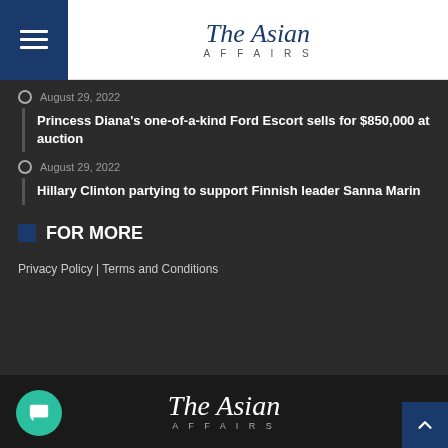The Asian Affairs
August 29, 2022 — Princess Diana's one-of-a-kind Ford Escort sells for $850,000 at auction
August 29, 2022 — Hillary Clinton partying to support Finnish leader Sanna Marin
FOR MORE
Privacy Policy | Terms and Conditions
The Asian Affairs